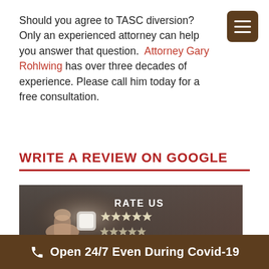Should you agree to TASC diversion? Only an experienced attorney can help you answer that question. Attorney Gary Rohlwing has over three decades of experience. Please call him today for a free consultation.
WRITE A REVIEW ON GOOGLE
[Figure (photo): Photo of a hand pressing a glowing button on a digital interface showing 'RATE US' text and five-star rating rows in decreasing quantity]
Open 24/7 Even During Covid-19